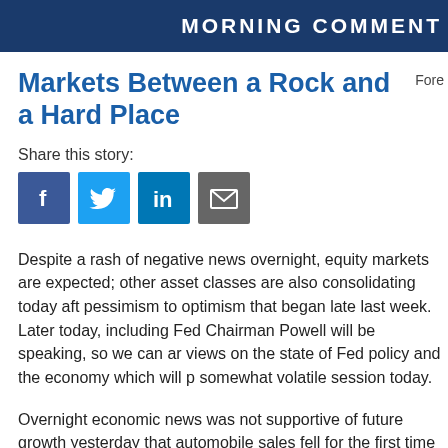MORNING COMMENT
Markets Between a Rock and a Hard Place
Fore
Share this story:
[Figure (illustration): Social share icons: Facebook, Twitter, LinkedIn, Email]
Despite a rash of negative news overnight, equity markets are expected; other asset classes are also consolidating today aft pessimism to optimism that began late last week. Later today, including Fed Chairman Powell will be speaking, so we can ar views on the state of Fed policy and the economy which will p somewhat volatile session today.
Overnight economic news was not supportive of future growth yesterday that automobile sales fell for the first time in 20 yea and fell for seven straight months to close out the year; this is